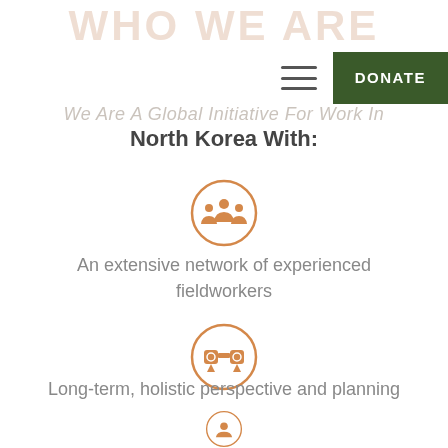WHO WE ARE
We Are A Global Initiative For Work In
North Korea With:
[Figure (illustration): Orange circle icon with group of people silhouettes representing a network of fieldworkers]
An extensive network of experienced fieldworkers
[Figure (illustration): Orange circle icon with binoculars representing long-term holistic perspective and planning]
Long-term, holistic perspective and planning
[Figure (illustration): Orange circle icon partially visible at bottom of page]